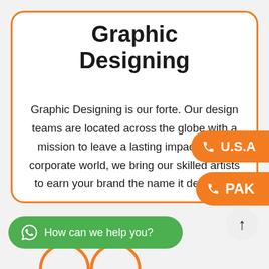Graphic Designing
Graphic Designing is our forte. Our design teams are located across the globe with a mission to leave a lasting impact on the corporate world, we bring our skilled artists to earn your brand the name it deserves.
U.S.A
PAK
How can we help you?